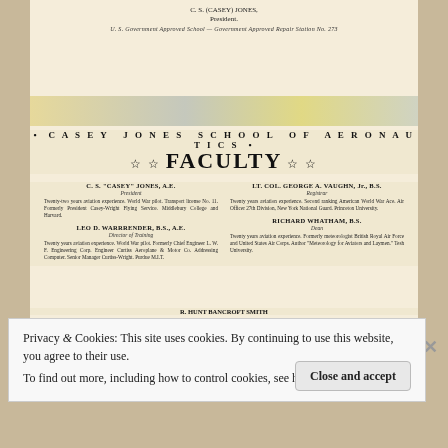C. S. (CASEY) JONES,
President.
U. S. Government Approved School — Government Approved Repair Station No. 273
• CASEY JONES SCHOOL OF AERONAUTICS •
☆ ☆ FACULTY ☆ ☆
C. S. "CASEY" JONES, A.E.
President
Twenty-two years aviation experience. World War pilot. Transport license No. 11. Formerly President Casey-Wright Flying Service. Middlebury College and Harvard.
LT. COL. GEORGE A. VAUGHN, Jr., B.S.
Registrar
Twenty years aviation experience. Second ranking American World War Ace. Air Officer 27th Division, New York National Guard. Princeton University.
LEO D. WARRRENDER, B.S., A.E.
Director of Training
Twenty years aviation experience. World War pilot. Formerly Chief Engineer L. W. F. Engineering Corp. Engineer Curtiss Aeroplane & Motor Co. Addressing Computer. Senior Manager Curtiss-Wright. Purdue M.I.T.
RICHARD WHATHAM, B.S.
Dean
Twenty years aviation experience. Formerly meteorologist British Royal Air Force and United States Air Corps. Author "Meteorology for Aviators and Laymen." Tesh University.
R. HUNT BANCROFT SMITH
Trustee
Privacy & Cookies: This site uses cookies. By continuing to use this website, you agree to their use.
To find out more, including how to control cookies, see here: Cookie Policy
Close and accept